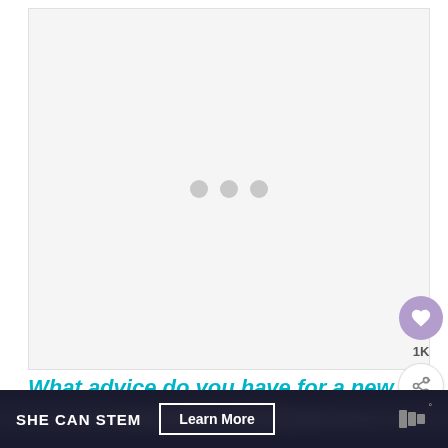[Figure (photo): Large image placeholder showing a loading state with three gray dots on a light gray background]
[Figure (infographic): Floating action button group: purple heart/like button with 1K count, and a share button with plus icon]
What advice do you have for a new
SHE CAN STEM  Learn More  (advertisement banner)